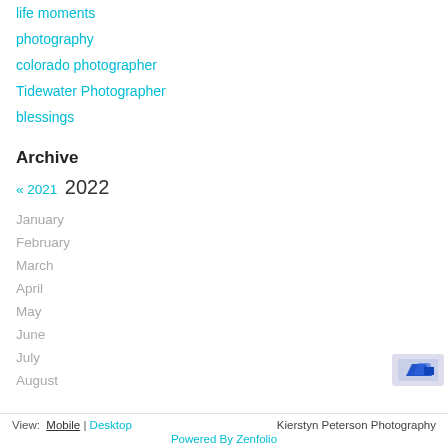life moments
photography
colorado photographer
Tidewater Photographer
blessings
Archive
« 2021  2022
January
February
March
April
May
June
July
August
View: Mobile | Desktop   Kierstyn Peterson Photography   Powered By Zenfolio